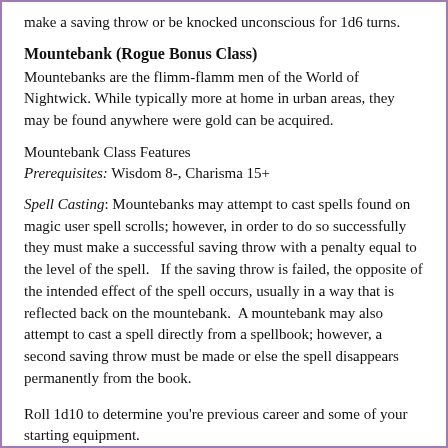make a saving throw or be knocked unconscious for 1d6 turns.
Mountebank (Rogue Bonus Class)
Mountebanks are the flimm-flamm men of the World of Nightwick. While typically more at home in urban areas, they may be found anywhere were gold can be acquired.
Mountebank Class Features
Prerequisites: Wisdom 8-, Charisma 15+
Spell Casting: Mountebanks may attempt to cast spells found on magic user spell scrolls; however, in order to do so successfully they must make a successful saving throw with a penalty equal to the level of the spell.   If the saving throw is failed, the opposite of the intended effect of the spell occurs, usually in a way that is reflected back on the mountebank.  A mountebank may also attempt to cast a spell directly from a spellbook; however, a second saving throw must be made or else the spell disappears permanently from the book.
Roll 1d10 to determine you're previous career and some of your starting equipment.